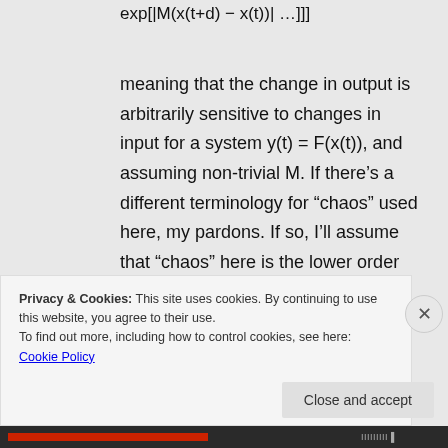meaning that the change in output is arbitrarily sensitive to changes in input for a system y(t) = F(x(t)), and assuming non-trivial M. If there's a different terminology for “chaos” used here, my pardons. If so, I’ll assume that “chaos” here is the lower order version I cited, that
Privacy & Cookies: This site uses cookies. By continuing to use this website, you agree to their use.
To find out more, including how to control cookies, see here: Cookie Policy